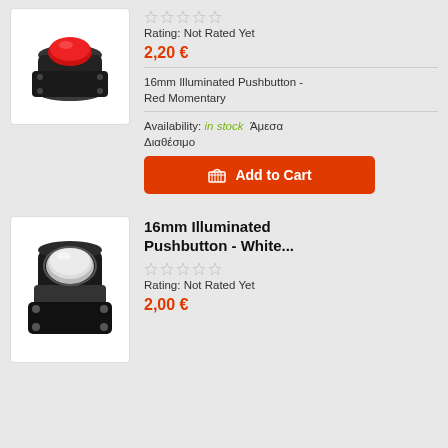[Figure (photo): Red illuminated pushbutton switch with black housing]
Pushbutton - Red...
Rating: Not Rated Yet
2,20 €
16mm Illuminated Pushbutton - Red Momentary
Availability: in stock Άμεσα Διαθέσιμο
Add to Cart
[Figure (photo): White illuminated pushbutton switch with black housing]
16mm Illuminated Pushbutton - White...
Rating: Not Rated Yet
2,00 €